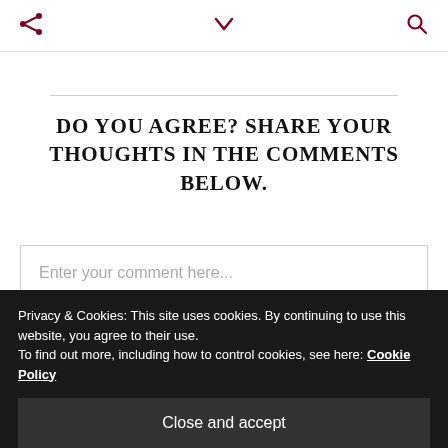[share icon] [chevron icon] [search icon]
DO YOU AGREE? SHARE YOUR THOUGHTS IN THE COMMENTS BELOW.
Enter your comment here...
Privacy & Cookies: This site uses cookies. By continuing to use this website, you agree to their use.
To find out more, including how to control cookies, see here: Cookie Policy
Close and accept